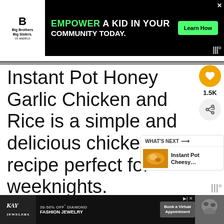[Figure (screenshot): Advertisement banner: Big Brothers Big Sisters logo on white background, black banner with 'EMPOWER A KID IN YOUR COMMUNITY TODAY.' text in white and green, green 'Learn How' button, X close button]
Instant Pot Honey Garlic Chicken and Rice is a simple and delicious chicken di... recipe perfect for weeknights.
[Figure (screenshot): WHAT'S NEXT panel showing 'Instant Pot Cheesy...' with food thumbnail image]
[Figure (screenshot): Bottom advertisement: KAY Jewelers ad with '30-50% OFF* DIAMOND FASHION JEWELRY', 'Book a Virtual Appointment' button, cat image, X close button]